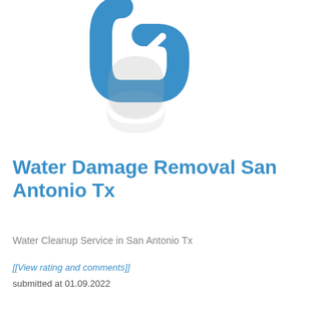[Figure (logo): Blue stylized link/chain icon with a checkmark, shown with a grey reflection below it. Resembles two chain links with a check/tick inside the top link.]
Water Damage Removal San Antonio Tx
Water Cleanup Service in San Antonio Tx
[[View rating and comments]]
submitted at 01.09.2022